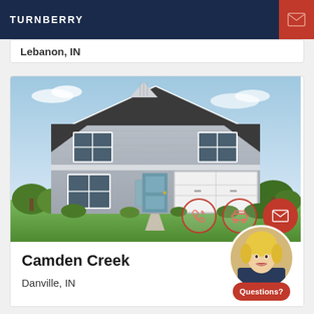TURNBERRY
Lebanon, IN
[Figure (photo): Two-story gray craftsman-style house with white garage door, blue front door, and landscaping]
Camden Creek
Danville, IN